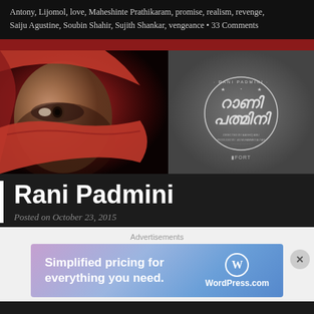Antony, Lijomol, love, Maheshinte Prathikaram, promise, realism, revenge, Saiju Agustine, Soubin Shahir, Sujith Shankar, vengeance • 33 Comments
[Figure (photo): Movie poster for Rani Padmini: a woman with red headscarf covering the lower half of her face on the left, and the Malayalam-script movie title logo with circular badge on the right, on a dark background.]
Rani Padmini
Posted on October 23, 2015
Advertisements
[Figure (screenshot): WordPress.com advertisement banner: 'Simplified pricing for everything you need.' with WordPress.com logo on blue-purple gradient background.]